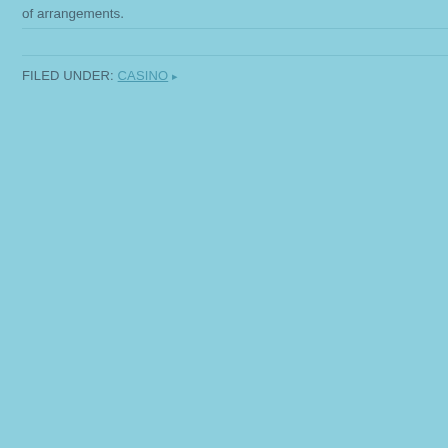of arrangements.
FILED UNDER: CASINO ▸